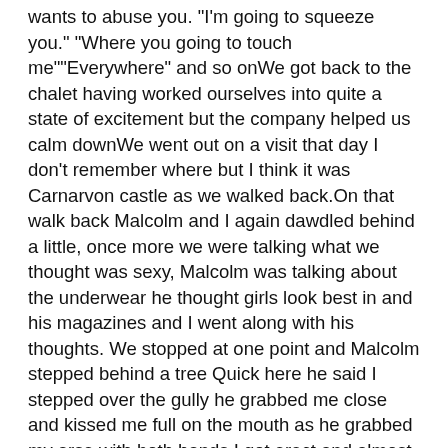wants to abuse you. "I'm going to squeeze you." "Where you going to touch me""Everywhere" and so onWe got back to the chalet having worked ourselves into quite a state of excitement but the company helped us calm downWe went out on a visit that day I don't remember where but I think it was Carnarvon castle as we walked back.On that walk back Malcolm and I again dawdled behind a little, once more we were talking what we thought was sexy, Malcolm was talking about the underwear he thought girls look best in and his magazines and I went along with his thoughts. We stopped at one point and Malcolm stepped behind a tree Quick here he said I stepped over the gully he grabbed me close and kissed me full on the mouth as he grabbed my arse with both hands I got erect and almost came in a breathe and kissed him back putting my hands around his back.We stopped as a car went past. "Malcolm, Jim" it was my Mum; Malcolm stepped back onto the road."Jim's just been a bit sick," he shouted up the road. When I look back its amazing how quick the lie came out and how quickly I backed him up.I stepped out from the tree."You do look a bit flushed" said Mum, no wonder I thought. I've just had my first ever snog with another boy"Lets get back and see